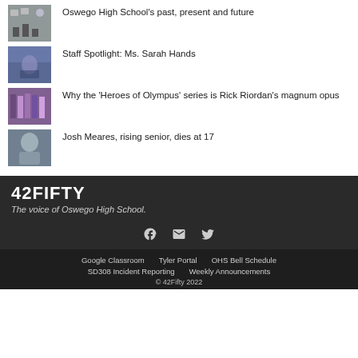Oswego High School's past, present and future
Staff Spotlight: Ms. Sarah Hands
Why the 'Heroes of Olympus' series is Rick Riordan's magnum opus
Josh Meares, rising senior, dies at 17
42FIFTY
The voice of Oswego High School.
[Figure (infographic): Social media icons: Facebook, Email, Twitter]
Google Classroom   Tyler Portal   OHS Bell Schedule   SD308 Incident Reporting   Weekly Announcements   © 42Fifty 2022